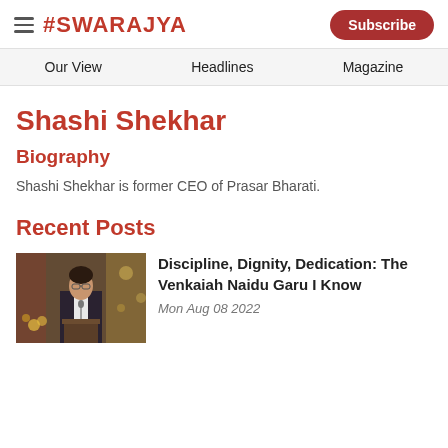#SWARAJYA — Subscribe
Our View  Headlines  Magazine
Shashi Shekhar
Biography
Shashi Shekhar is former CEO of Prasar Bharati.
Recent Posts
[Figure (photo): Photo of a man in a dark vest speaking at a podium with decorations in the background]
Discipline, Dignity, Dedication: The Venkaiah Naidu Garu I Know
Mon Aug 08 2022